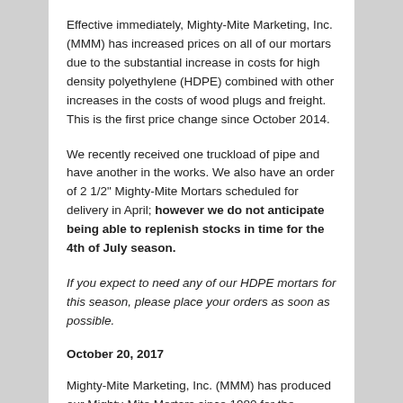Effective immediately, Mighty-Mite Marketing, Inc. (MMM) has increased prices on all of our mortars due to the substantial increase in costs for high density polyethylene (HDPE) combined with other increases in the costs of wood plugs and freight. This is the first price change since October 2014.
We recently received one truckload of pipe and have another in the works. We also have an order of 2 1/2" Mighty-Mite Mortars scheduled for delivery in April; however we do not anticipate being able to replenish stocks in time for the 4th of July season.
If you expect to need any of our HDPE mortars for this season, please place your orders as soon as possible.
October 20, 2017
Mighty-Mite Marketing, Inc. (MMM) has produced our Mighty-Mite Mortars since 1980 for the fireworks industry...